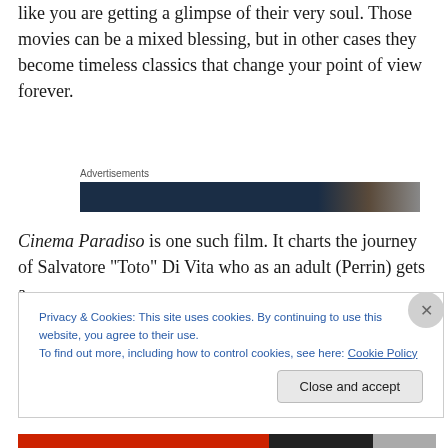Some movies are so personal to the director that you feel like you are getting a glimpse of their very soul. Those movies can be a mixed blessing, but in other cases they become timeless classics that change your point of view forever.
Advertisements
[Figure (other): Advertisement banner image, dark blue with partial face on right side]
Cinema Paradiso is one such film. It charts the journey of Salvatore “Toto” Di Vita who as an adult (Perrin) gets a phone call from his mother that his childhood mentor
Privacy & Cookies: This site uses cookies. By continuing to use this website, you agree to their use.
To find out more, including how to control cookies, see here: Cookie Policy
Close and accept